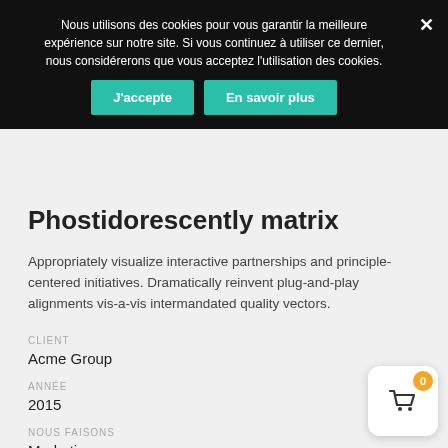Nous utilisons des cookies pour vous garantir la meilleure expérience sur notre site. Si vous continuez à utiliser ce dernier, nous considérerons que vous acceptez l'utilisation des cookies.
Phostidorescently matrix
Appropriately visualize interactive partnerships and principle-centered initiatives. Dramatically reinvent plug-and-play alignments vis-a-vis intermandated quality vectors.
CLIENT
Acme Group
ANNÉE
2015
NOUS FAISONS
Marketing